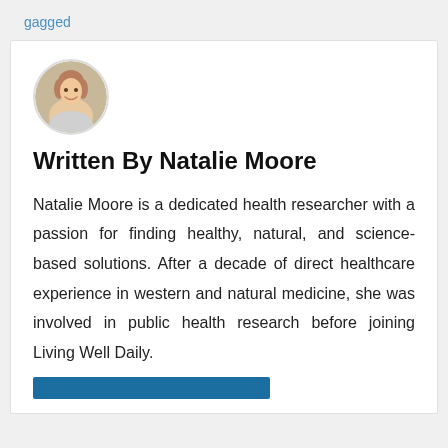gagged
[Figure (photo): Circular profile photo of Natalie Moore, a woman with light skin and light brown hair]
Written By Natalie Moore
Natalie Moore is a dedicated health researcher with a passion for finding healthy, natural, and science-based solutions. After a decade of direct healthcare experience in western and natural medicine, she was involved in public health research before joining Living Well Daily.
[Figure (other): Blue horizontal bar/button at the bottom of the card]